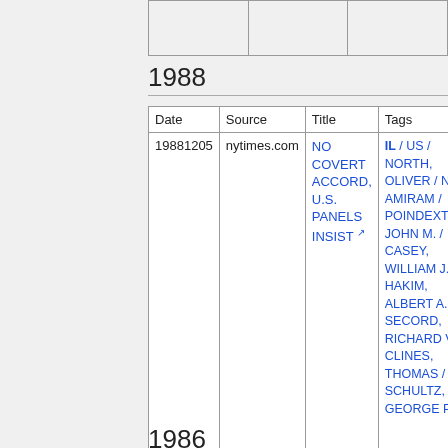|  |  |  |
| --- | --- | --- |
|  |  |  |
1988
| Date | Source | Title | Tags |
| --- | --- | --- | --- |
| 19881205 | nytimes.com | NO COVERT ACCORD, U.S. PANELS INSIST | IL / US / NORTH, OLIVER / NI / AMIRAM / POINDEXTER, JOHN M. / CASEY, WILLIAM J. / HAKIM, ALBERT A. / SECORD, RICHARD V / CLINES, THOMAS / SCHULTZ, GEORGE P. |
1986